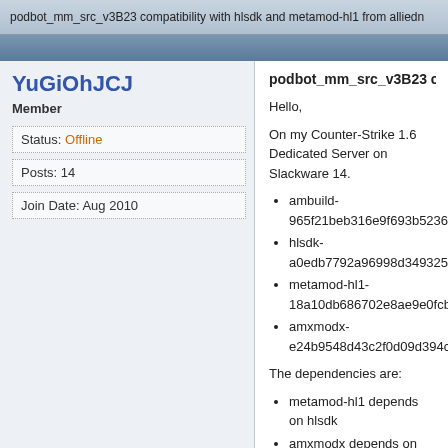podbot_mm_src_v3B23 compatibility with hlsdk and metamod-hl1 from alliedn
podbot_mm_src_v3B23 compatibility with hlsdk and met
YuGiOhJCJ
Member
Status: Offline
Posts: 14
Join Date: Aug 2010
Hello,
On my Counter-Strike 1.6 Dedicated Server on Slackware 14.
ambuild-965f21beb316e9f693b5236a9b33903625d673
hlsdk-a0edb7792a96998d349325bebab8ea41ec5cb23
metamod-hl1-18a10db686702e8ae9e0fcb5b5febf8881
amxmodx-e24b9548d43c2f0d09d394cc1884b6d171bd
The dependencies are:
metamod-hl1 depends on hlsdk
amxmodx depends on ambuild, hlsdk and metamod-hl
Now, I am trying to build podbot_mm_src_v3B23 [5]. The dependencies are:
podbot_mm_src_v3B23 depends on hlsdk and metamo
The problem is that podbot_mm_src_v3B23 seems to depend on metamod [6] instead of the ones from alliedmodders.
The result is that if I build with the ones from alliedmodders, I
Code:
$ make
g++ -O2 -fomit-frame-pointer -march=i586
In file included from bot.cpp:17:0: